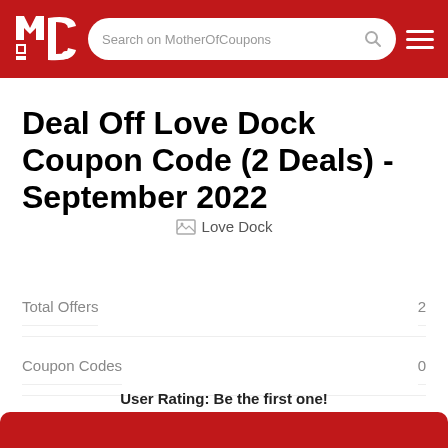MotherOfCoupons header with logo and search bar
Deal Off Love Dock Coupon Code (2 Deals) - September 2022
[Figure (photo): Love Dock logo image (broken/unloaded image placeholder)]
|  |  |
| --- | --- |
| Total Offers | 2 |
| Coupon Codes | 0 |
| Deals Coupons | 2 |
| Best Discount | Deal OFF |
User Rating: Be the first one!